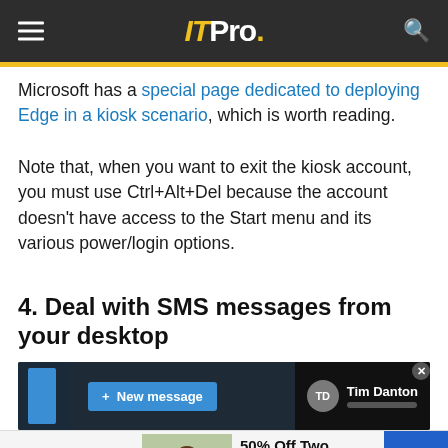ITPro.
Microsoft has a special page dedicated to deploying Edge in a kiosk scenario, which is worth reading.
Note that, when you want to exit the kiosk account, you must use Ctrl+Alt+Del because the account doesn't have access to the Start menu and its various power/login options.
4. Deal with SMS messages from your desktop
[Figure (screenshot): Screenshot of a messaging interface showing a '+ New message' button and a contact 'Tim Danton' with initials TD avatar on dark background.]
[Figure (other): SmartPak advertisement: 50% Off Two Months of ColiCare - ColiCare Eligible Supplements CODE: COLICARE10 with Shop Now button]